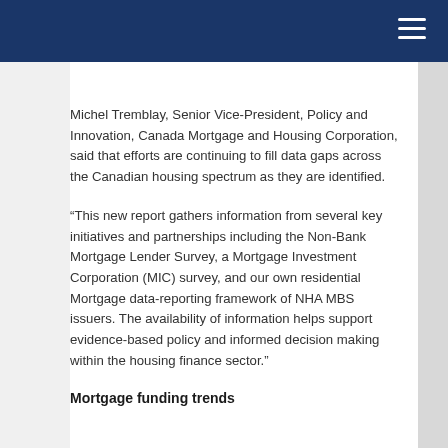Michel Tremblay, Senior Vice-President, Policy and Innovation, Canada Mortgage and Housing Corporation, said that efforts are continuing to fill data gaps across the Canadian housing spectrum as they are identified.
“This new report gathers information from several key initiatives and partnerships including the Non-Bank Mortgage Lender Survey, a Mortgage Investment Corporation (MIC) survey, and our own residential Mortgage data-reporting framework of NHA MBS issuers. The availability of information helps support evidence-based policy and informed decision making within the housing finance sector.”
Mortgage funding trends